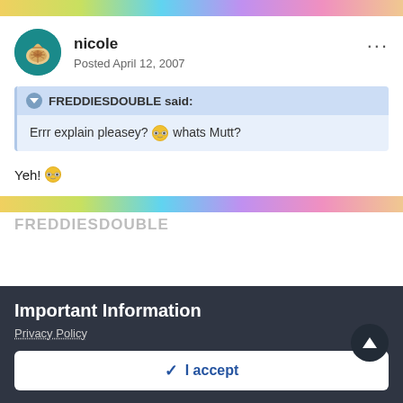[Figure (screenshot): Rainbow gradient bar at top of page]
nicole
Posted April 12, 2007
FREDDIESDOUBLE said:
Errr explain pleasey? whats Mutt?
Yeh!
[Figure (screenshot): Rainbow gradient bar separating posts]
Important Information
Privacy Policy
✓ I accept